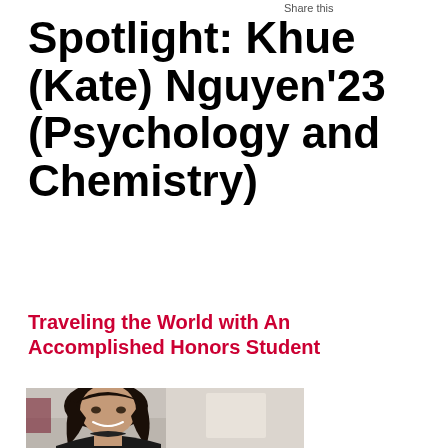Share this
Spotlight: Khue (Kate) Nguyen'23 (Psychology and Chemistry)
Traveling the World with An Accomplished Honors Student
[Figure (photo): Portrait photo of Khue (Kate) Nguyen, a young woman with long dark hair, smiling, wearing a black turtleneck top, photographed indoors in what appears to be a hallway or atrium with blurred background.]